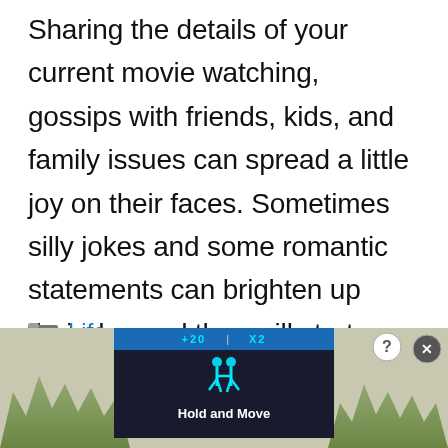Sharing the details of your current movie watching, gossips with friends, kids, and family issues can spread a little joy on their faces. Sometimes silly jokes and some romantic statements can brighten up their day and they will start living their life through you.
Life
< My Husband is Boring – How Can I
[Figure (screenshot): Advertisement banner showing a dark box with blue neon text '+20' and 'X2' at top, blue stick figures icon in center, 'Hold and Move' text label, trees/nature background on both sides, with close (X) and help (?) buttons in top right corner.]